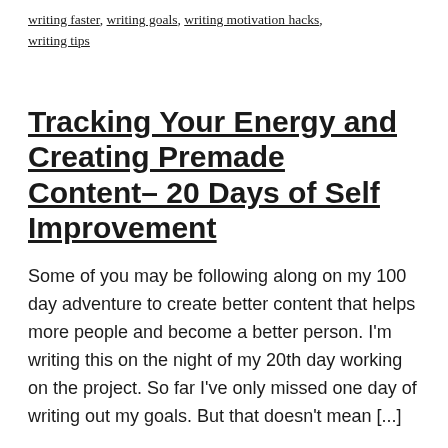writing faster, writing goals, writing motivation hacks, writing tips
Tracking Your Energy and Creating Premade Content– 20 Days of Self Improvement
Some of you may be following along on my 100 day adventure to create better content that helps more people and become a better person. I'm writing this on the night of my 20th day working on the project. So far I've only missed one day of writing out my goals. But that doesn't mean [...]